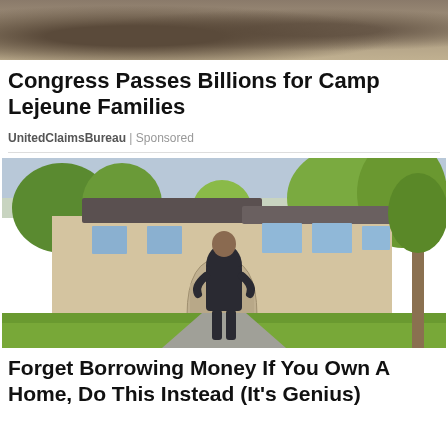[Figure (photo): Partial photo at top of page showing a dark textured background, likely a person or statue cropped at the top]
Congress Passes Billions for Camp Lejeune Families
UnitedClaimsBureau | Sponsored
[Figure (photo): Woman in black dress standing in front of a large luxury home with lush trees and landscaping, photographed outdoors in daylight]
Forget Borrowing Money If You Own A Home, Do This Instead (It's Genius)